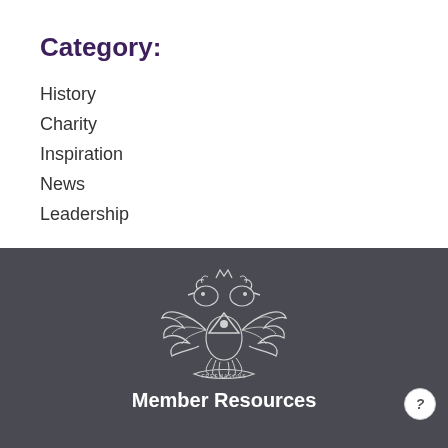Category:
History
Charity
Inspiration
News
Leadership
[Figure (logo): Freemasons double-headed eagle crest logo in white on dark grey background]
Member Resources